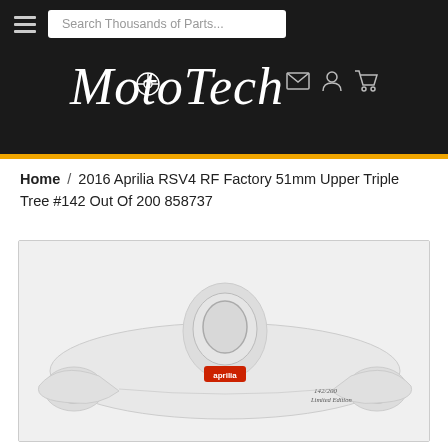MotoTech — Search Thousands of Parts...
Home / 2016 Aprilia RSV4 RF Factory 51mm Upper Triple Tree #142 Out Of 200 858737
[Figure (photo): White Aprilia RSV4 RF Factory upper triple tree clamp, showing the part from above. It has a central steering stem hole, two outer fork tube openings, and displays an Aprilia red logo badge and a numbered plate reading 142/200 Limited Edition on the right side.]